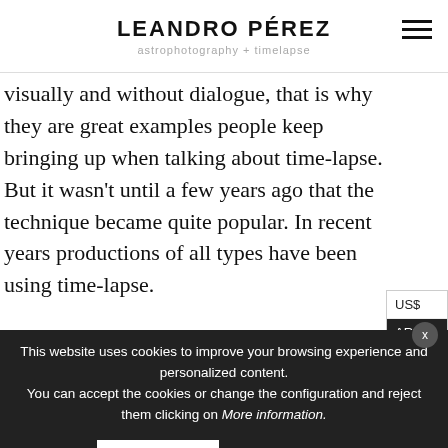LEANDRO PÉREZ astrophotography + timelapse
visually and without dialogue, that is why they are great examples people keep bringing up when talking about time-lapse. But it wasn't until a few years ago that the technique became quite popular. In recent years productions of all types have been using time-lapse.
This website uses cookies to improve your browsing experience and personalized content. You can accept the cookies or change the configuration and reject them clicking on More information.